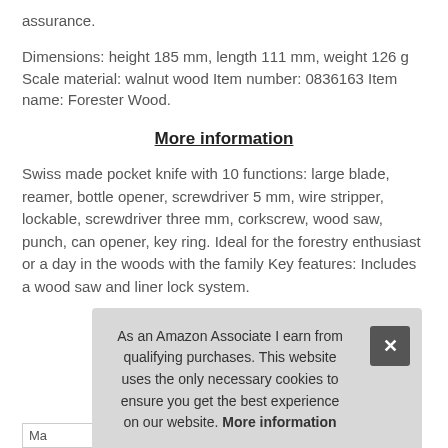assurance.
Dimensions: height 185 mm, length 111 mm, weight 126 g Scale material: walnut wood Item number: 0836163 Item name: Forester Wood.
More information
Swiss made pocket knife with 10 functions: large blade, reamer, bottle opener, screwdriver 5 mm, wire stripper, lockable, screwdriver three mm, corkscrew, wood saw, punch, can opener, key ring. Ideal for the forestry enthusiast or a day in the woods with the family Key features: Includes a wood saw and liner lock system.
As an Amazon Associate I earn from qualifying purchases. This website uses the only necessary cookies to ensure you get the best experience on our website. More information